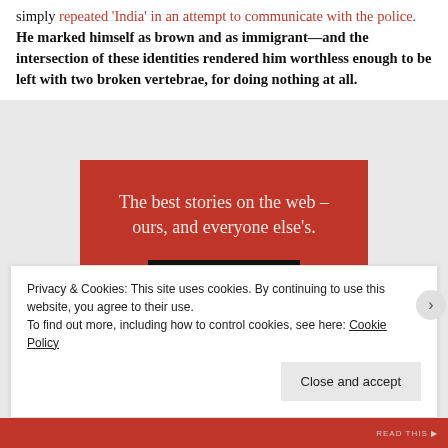simply repeated 'India' in an attempt to communicate with the police. He marked himself as brown and as immigrant—and the intersection of these identities rendered him worthless enough to be left with two broken vertebrae, for doing nothing at all.
[Figure (other): Red advertisement banner reading 'The best stories on the web – ours, and everyone else's.' with a black 'Start reading' button.]
Privacy & Cookies: This site uses cookies. By continuing to use this website, you agree to their use. To find out more, including how to control cookies, see here: Cookie Policy
Close and accept